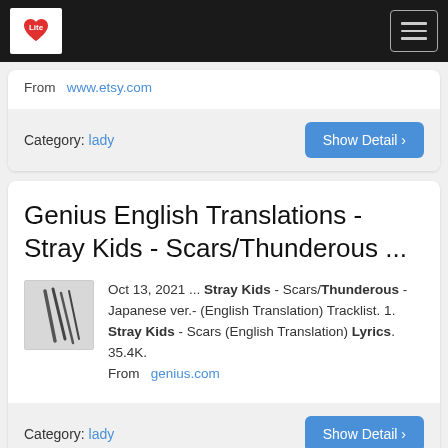Lite [logo] [hamburger menu]
From  www.etsy.com
Category: lady
Genius English Translations - Stray Kids - Scars/Thunderous ...
Oct 13, 2021 ... Stray Kids - Scars/Thunderous - Japanese ver.- (English Translation) Tracklist. 1. Stray Kids - Scars (English Translation) Lyrics. 35.4K.
From  genius.com
Category: lady